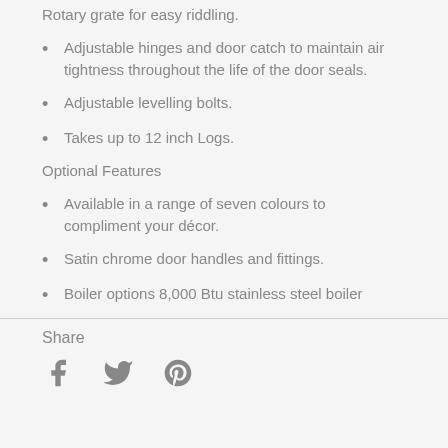Rotary grate for easy riddling.
Adjustable hinges and door catch to maintain air tightness throughout the life of the door seals.
Adjustable levelling bolts.
Takes up to 12 inch Logs.
Optional Features
Available in a range of seven colours to compliment your décor.
Satin chrome door handles and fittings.
Boiler options 8,000 Btu stainless steel boiler
Share